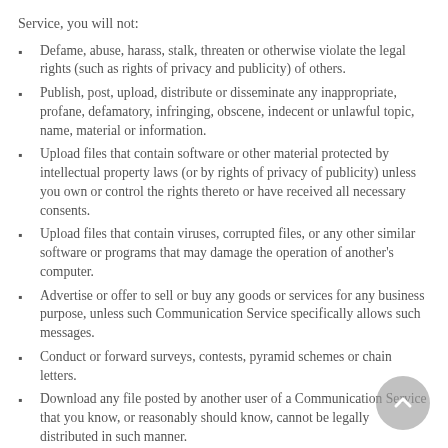Service, you will not:
Defame, abuse, harass, stalk, threaten or otherwise violate the legal rights (such as rights of privacy and publicity) of others.
Publish, post, upload, distribute or disseminate any inappropriate, profane, defamatory, infringing, obscene, indecent or unlawful topic, name, material or information.
Upload files that contain software or other material protected by intellectual property laws (or by rights of privacy of publicity) unless you own or control the rights thereto or have received all necessary consents.
Upload files that contain viruses, corrupted files, or any other similar software or programs that may damage the operation of another's computer.
Advertise or offer to sell or buy any goods or services for any business purpose, unless such Communication Service specifically allows such messages.
Conduct or forward surveys, contests, pyramid schemes or chain letters.
Download any file posted by another user of a Communication Service that you know, or reasonably should know, cannot be legally distributed in such manner.